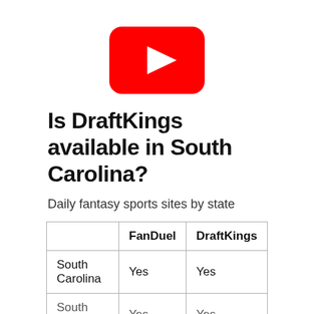[Figure (logo): YouTube logo — red rounded rectangle with white play button triangle]
Is DraftKings available in South Carolina?
Daily fantasy sports sites by state
|  | FanDuel | DraftKings |
| --- | --- | --- |
| South Carolina | Yes | Yes |
| South Dakota | Yes | Yes |